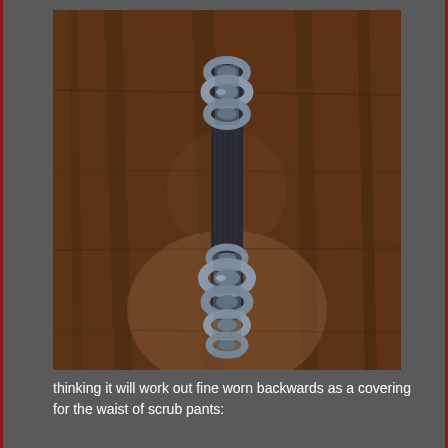[Figure (photo): A belt or strap made from linked soda can pull tabs / rings connected by a dark fabric or rubber strip, laid out vertically on a wooden surface. The pull tab rings are metallic silver-grey and form a chain at both ends of the strap.]
thinking it will work out fine worn backwards as a covering for the waist of scrub pants: